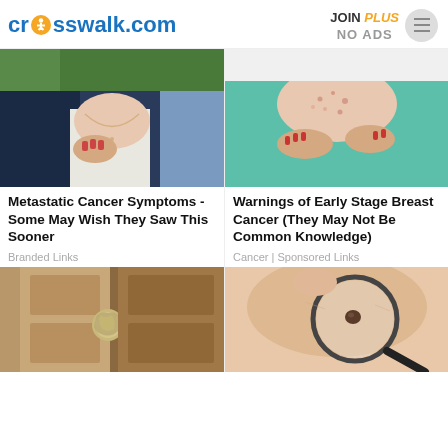crosswalk.com | JOIN PLUS NO ADS
[Figure (photo): Woman touching chest area with a necklace, wearing navy jacket and white top]
Metastatic Cancer Symptoms - Some May Wish They Saw This Sooner
Branded Links
[Figure (photo): Woman in teal top scratching or touching her chest/skin with red fingernails]
Warnings of Early Stage Breast Cancer (They May Not Be Common Knowledge)
Cancer | Sponsored Links
[Figure (photo): Close up of a bronze/gold door knob on a door]
[Figure (photo): Magnifying glass over a mole on skin, close-up medical examination]